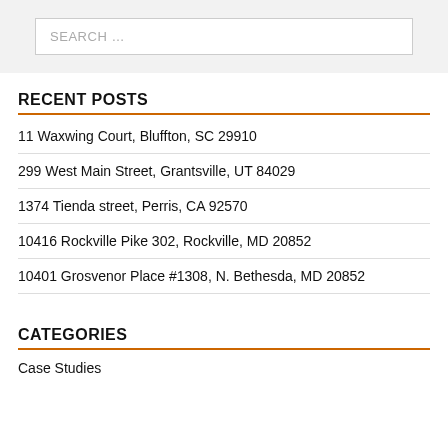[Figure (other): Search input box with placeholder text SEARCH ...]
RECENT POSTS
11 Waxwing Court, Bluffton, SC 29910
299 West Main Street, Grantsville, UT 84029
1374 Tienda street, Perris, CA 92570
10416 Rockville Pike 302, Rockville, MD 20852
10401 Grosvenor Place #1308, N. Bethesda, MD 20852
CATEGORIES
Case Studies